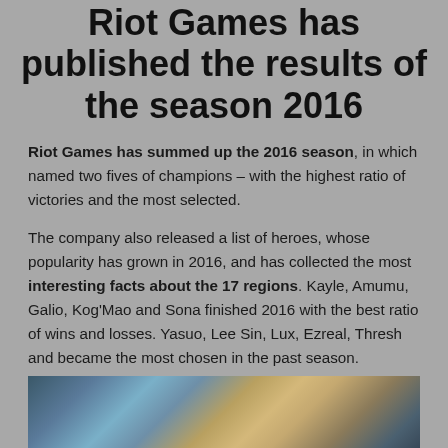Riot Games has published the results of the season 2016
Riot Games has summed up the 2016 season, in which named two fives of champions – with the highest ratio of victories and the most selected.
The company also released a list of heroes, whose popularity has grown in 2016, and has collected the most interesting facts about the 17 regions. Kayle, Amumu, Galio, Kog'Mao and Sona finished 2016 with the best ratio of wins and losses. Yasuo, Lee Sin, Lux, Ezreal, Thresh and became the most chosen in the past season.
[Figure (photo): Fantasy/game artwork showing characters, partially visible at bottom of page]